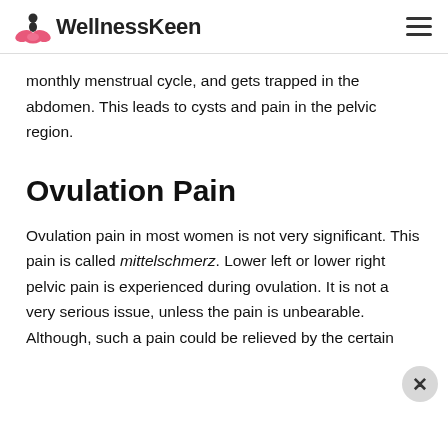WellnessKeen
monthly menstrual cycle, and gets trapped in the abdomen. This leads to cysts and pain in the pelvic region.
Ovulation Pain
Ovulation pain in most women is not very significant. This pain is called mittelschmerz. Lower left or lower right pelvic pain is experienced during ovulation. It is not a very serious issue, unless the pain is unbearable. Although, such a pain could be relieved by the certain